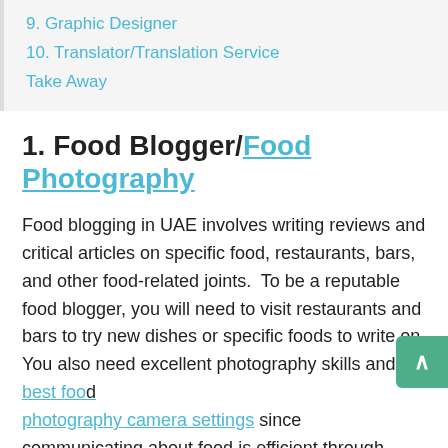9. Graphic Designer
10. Translator/Translation Service
Take Away
1. Food Blogger/Food Photography
Food blogging in UAE involves writing reviews and critical articles on specific food, restaurants, bars, and other food-related joints.  To be a reputable food blogger, you will need to visit restaurants and bars to try new dishes or specific foods to write on. You also need excellent photography skills and the best food photography camera settings since communicating about food is efficient through images.